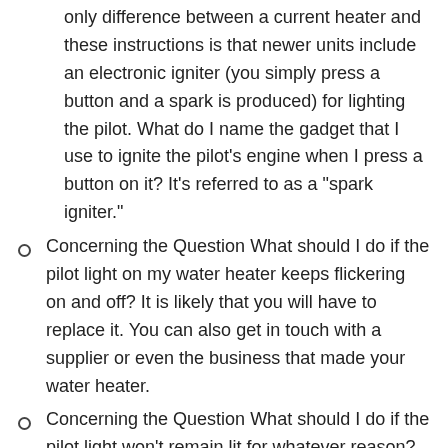only difference between a current heater and these instructions is that newer units include an electronic igniter (you simply press a button and a spark is produced) for lighting the pilot. What do I name the gadget that I use to ignite the pilot's engine when I press a button on it? It's referred to as a "spark igniter."
Concerning the Question What should I do if the pilot light on my water heater keeps flickering on and off? It is likely that you will have to replace it. You can also get in touch with a supplier or even the business that made your water heater.
Concerning the Question What should I do if the pilot light won't remain lit for whatever reason? The most likely cause of your problem is that your thermocouple has to be repaired